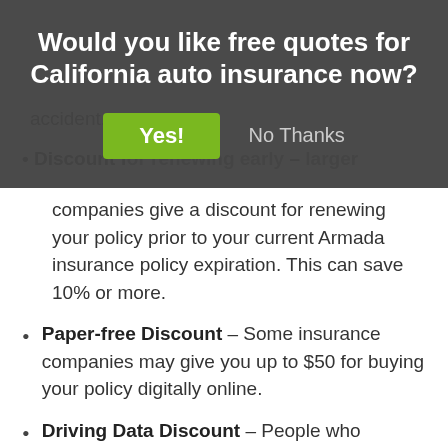[Figure (other): Modal dialog overlay asking 'Would you like free quotes for California auto insurance now?' with a green 'Yes!' button and a 'No Thanks' text button]
accident.
Discount f[or renewing early] – larger companies give a discount for renewing your policy prior to your current Armada insurance policy expiration. This can save 10% or more.
Paper-free Discount – Some insurance companies may give you up to $50 for buying your policy digitally online.
Driving Data Discount – People who choose to allow their insurance company to monitor where and when they drive by installing a telematics device such as State Farm's In-Drive and b... you can save if they ... you...